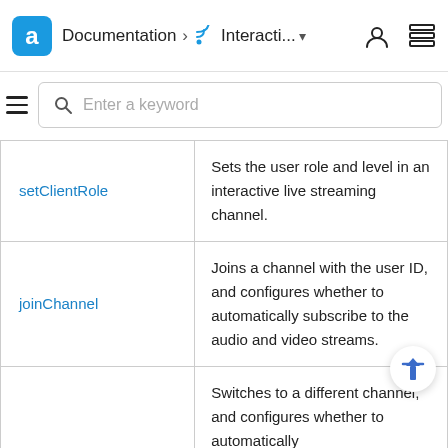Documentation > Interacti... ▾
[Figure (screenshot): Search bar with hamburger menu icon and search input placeholder 'Enter a keyword']
| Method | Description |
| --- | --- |
| setClientRole | Sets the user role and level in an interactive live streaming channel. |
| joinChannel | Joins a channel with the user ID, and configures whether to automatically subscribe to the audio and video streams. |
| switchChannel | Switches to a different channel, and configures whether to automatically |